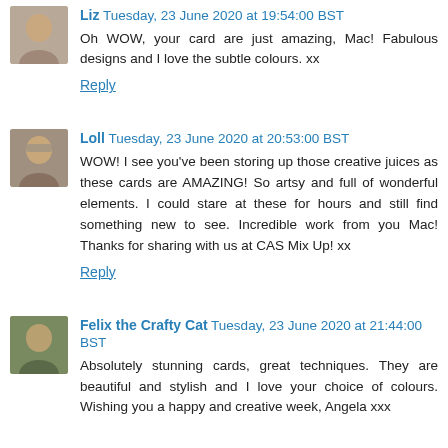Liz  Tuesday, 23 June 2020 at 19:54:00 BST
Oh WOW, your card are just amazing, Mac! Fabulous designs and I love the subtle colours. xx
Reply
Loll  Tuesday, 23 June 2020 at 20:53:00 BST
WOW! I see you've been storing up those creative juices as these cards are AMAZING! So artsy and full of wonderful elements. I could stare at these for hours and still find something new to see. Incredible work from you Mac! Thanks for sharing with us at CAS Mix Up! xx
Reply
Felix the Crafty Cat  Tuesday, 23 June 2020 at 21:44:00 BST
Absolutely stunning cards, great techniques. They are beautiful and stylish and I love your choice of colours. Wishing you a happy and creative week, Angela xxx